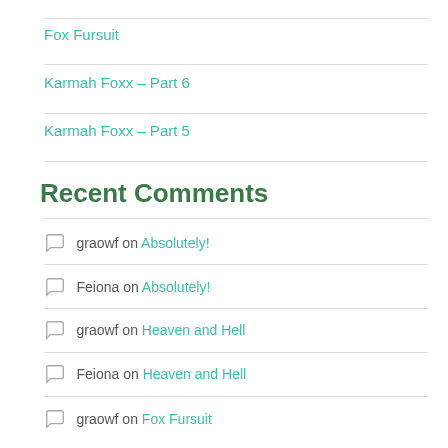Fox Fursuit
Karmah Foxx – Part 6
Karmah Foxx – Part 5
Recent Comments
graowf on Absolutely!
Feiona on Absolutely!
graowf on Heaven and Hell
Feiona on Heaven and Hell
graowf on Fox Fursuit